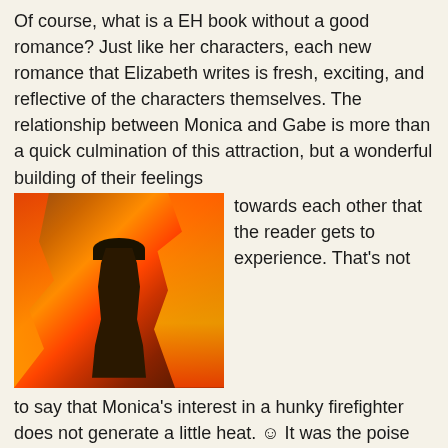Of course, what is a EH book without a good romance?  Just like her characters, each new romance that Elizabeth writes is fresh, exciting, and reflective of the characters themselves.  The relationship between Monica and Gabe is more than a quick culmination of this attraction, but a wonderful building of their feelings towards each other that the reader gets to experience.  That’s not to say that Monica’s interest in a hunky firefighter does not generate a little heat. ☺  It was the poise and determination that Monica had through all this; moving forward after the death of her husband to start a business and date again, that made me love her all the more.  I guarantee you will love this story and series, if
[Figure (photo): A firefighter in full gear walking toward a large fire with flames surrounding them, viewed from behind.]